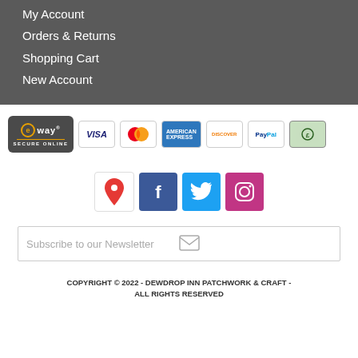My Account
Orders & Returns
Shopping Cart
New Account
[Figure (logo): eWAY Secure Online payment badge and payment method icons: VISA, Mastercard, American Express, Discover, PayPal, eftpos]
[Figure (infographic): Social media icons: Google Maps pin, Facebook, Twitter, Instagram]
Subscribe to our Newsletter
COPYRIGHT © 2022 - DEWDROP INN PATCHWORK & CRAFT - ALL RIGHTS RESERVED